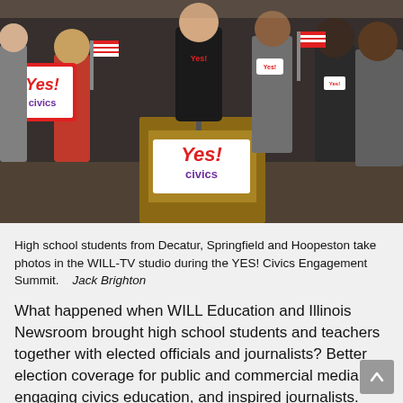[Figure (photo): High school students from Decatur, Springfield and Hoopeston posing in the WILL-TV studio during the YES! Civics Engagement Summit. Students hold YES! Civics signs and small American flags around a podium with a YES! Civics banner.]
High school students from Decatur, Springfield and Hoopeston take photos in the WILL-TV studio during the YES! Civics Engagement Summit.    Jack Brighton
What happened when WILL Education and Illinois Newsroom brought high school students and teachers together with elected officials and journalists? Better election coverage for public and commercial media, engaging civics education, and inspired journalists. Illinois Public Media's Yes! Civics summit ahead of the